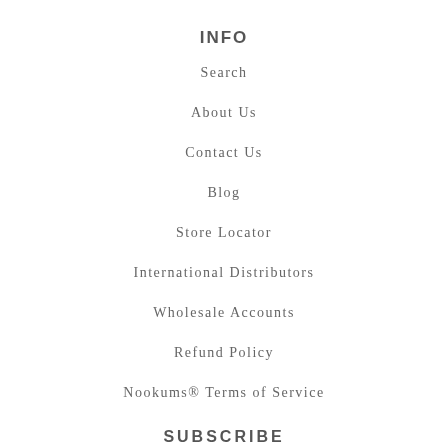INFO
Search
About Us
Contact Us
Blog
Store Locator
International Distributors
Wholesale Accounts
Refund Policy
Nookums® Terms of Service
SUBSCRIBE
Sign up to our mailing list
[Figure (other): Email subscription form with text input labeled 'Your Email' and an orange OK button]
[Figure (other): Instagram social media icon (circle with camera outline)]